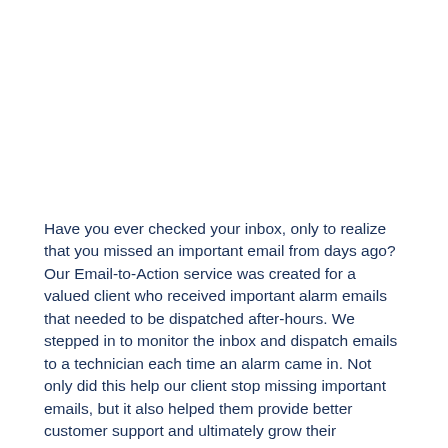Have you ever checked your inbox, only to realize that you missed an important email from days ago? Our Email-to-Action service was created for a valued client who received important alarm emails that needed to be dispatched after-hours. We stepped in to monitor the inbox and dispatch emails to a technician each time an alarm came in. Not only did this help our client stop missing important emails, but it also helped them provide better customer support and ultimately grow their business.
We're committed to your business' success. As a leading answering service since 1974, Answering